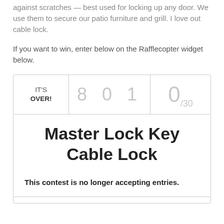against scratches — best used for locking up any door. We use them to secure our patio furniture and grill. I love out cable lock.
If you want to win, enter below on the Rafflecopter widget below.
[Figure (screenshot): Rafflecopter giveaway widget showing 'IT'S OVER!' with 801 entries and 0/30 mandatory entries, prize title 'Master Lock Key Cable Lock', and text 'This contest is no longer accepting entries.']